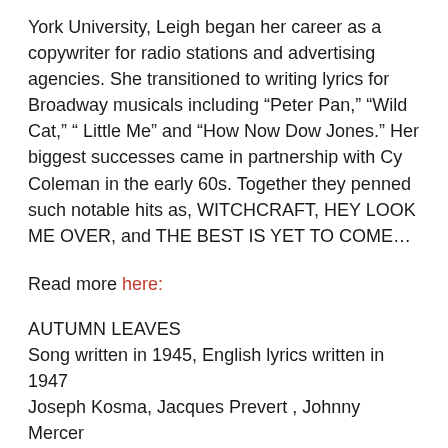York University, Leigh began her career as a copywriter for radio stations and advertising agencies. She transitioned to writing lyrics for Broadway musicals including “Peter Pan,” “Wild Cat,” “ Little Me” and “How Now Dow Jones.” Her biggest successes came in partnership with Cy Coleman in the early 60s. Together they penned such notable hits as, WITCHCRAFT, HEY LOOK ME OVER, and THE BEST IS YET TO COME…
Read more here:
AUTUMN LEAVES
Song written in 1945, English lyrics written in 1947
Joseph Kosma, Jacques Prevert , Johnny Mercer
COVERS:
Jo Stafford, Edith Piaff (in French), Tom Jones, Mel Torme, Sarah Vaughn, Nat King Cole, Bing Crosby, Frank Sinatra, Paul Anka, Tony Bennett, Louis Prima. The song has long